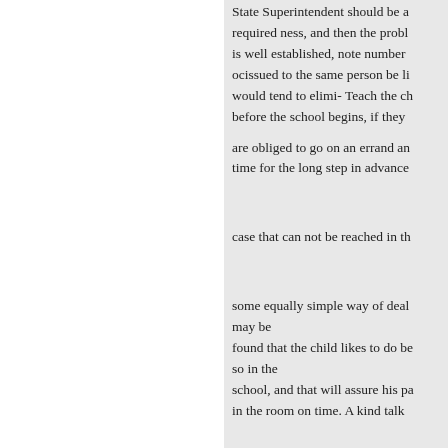State Superintendent should be a required ness, and then the probl is well established, note number ocissued to the same person be li would tend to elimi- Teach the ch before the school begins, if they are obliged to go on an errand an time for the long step in advance case that can not be reached in th some equally simple way of deal may be found that the child likes to do be so in the school, and that will assure his pa in the room on time. A kind talk needed. operation new plans con